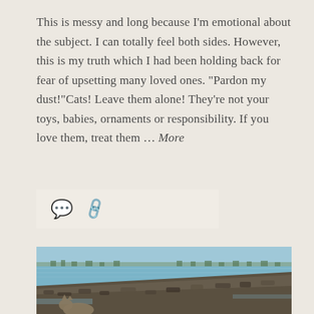This is messy and long because I'm emotional about the subject. I can totally feel both sides. However, this is my truth which I had been holding back for fear of upsetting many loved ones. "Pardon my dust!"Cats! Leave them alone! They're not your toys, babies, ornaments or responsibility. If you love them, treat them … More
[Figure (other): Icons bar with comment bubble and chain/link icons on a light beige background]
[Figure (photo): Photograph of a rocky shoreline with blue water and a distant treeline or landmass on the horizon. A cat is partially visible in the foreground at the bottom of the image.]